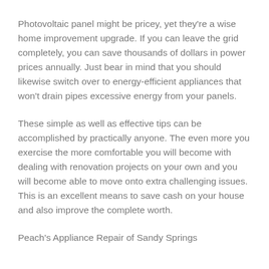Photovoltaic panel might be pricey, yet they're a wise home improvement upgrade. If you can leave the grid completely, you can save thousands of dollars in power prices annually. Just bear in mind that you should likewise switch over to energy-efficient appliances that won't drain pipes excessive energy from your panels.
These simple as well as effective tips can be accomplished by practically anyone. The even more you exercise the more comfortable you will become with dealing with renovation projects on your own and you will become able to move onto extra challenging issues. This is an excellent means to save cash on your house and also improve the complete worth.
Peach's Appliance Repair of Sandy Springs